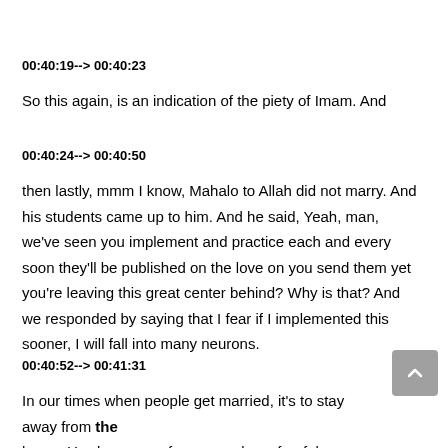00:40:19--> 00:40:23
So this again, is an indication of the piety of Imam. And
00:40:24--> 00:40:50
then lastly, mmm I know, Mahalo to Allah did not marry. And his students came up to him. And he said, Yeah, man, we've seen you implement and practice each and every soon they'll be published on the love on you send them yet you're leaving this great center behind? Why is that? And we responded by saying that I fear if I implemented this sooner, I will fall into many neurons.
00:40:52--> 00:41:31
In our times when people get married, it's to stay away from the home. You know, you fear around you fearful upon yourself, you get